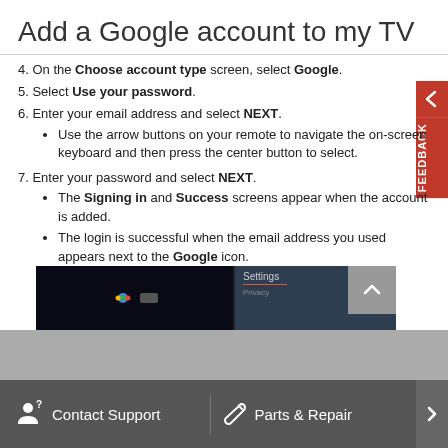Add a Google account to my TV
4. On the Choose account type screen, select Google.
5. Select Use your password.
6. Enter your email address and select NEXT.
Use the arrow buttons on your remote to navigate the on-screen keyboard and then press the center button to select.
7. Enter your password and select NEXT.
The Signing in and Success screens appear when the account is added.
The login is successful when the email address you used appears next to the Google icon.
[Figure (screenshot): TV screen screenshot showing Settings menu]
Contact Support  Parts & Repair